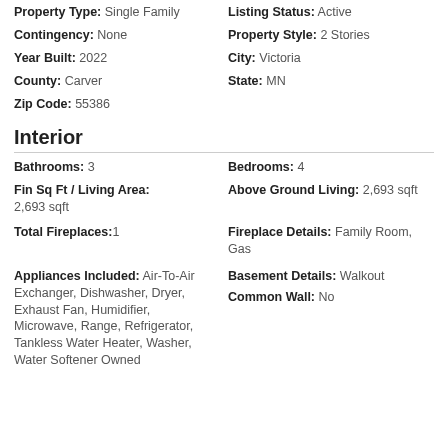Property Type: Single Family   Listing Status: Active
Contingency: None   Property Style: 2 Stories
Year Built: 2022   City: Victoria
County: Carver   State: MN
Zip Code: 55386
Interior
Bathrooms: 3   Bedrooms: 4
Fin Sq Ft / Living Area: 2,693 sqft   Above Ground Living: 2,693 sqft
Total Fireplaces: 1   Fireplace Details: Family Room, Gas
Appliances Included: Air-To-Air Exchanger, Dishwasher, Dryer, Exhaust Fan, Humidifier, Microwave, Range, Refrigerator, Tankless Water Heater, Washer, Water Softener Owned   Basement Details: Walkout   Common Wall: No